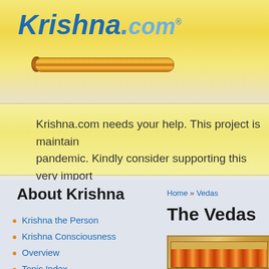[Figure (logo): Krishna.com logo with blue italic text and golden flute decoration]
Krishna.com needs your help. This project is maintained during the pandemic. Kindly consider supporting this very important...
Home » Vedas
About Krishna
The Vedas
Krishna the Person
Krishna Consciousness
Overview
Topic Index
Glossary
The Reading Room
[Figure (photo): Ancient Sanskrit manuscript with decorative borders and Devanagari script text]